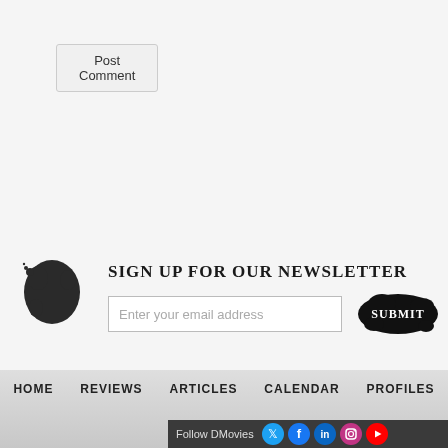Post Comment
Sign up for our newsletter
Enter your email address
SUBMIT
HOME   REVIEWS   ARTICLES   CALENDAR   PROFILES
Follow DMovies